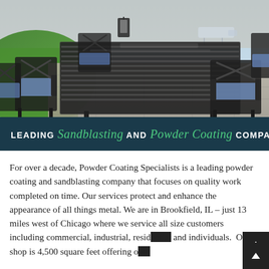[Figure (photo): Outdoor patio scene with a dark metal slatted dining table and chairs with blue cushions on a stone patio. Lawn and pool/seating area visible in background.]
LEADING Sandblasting AND Powder Coating COMPANY
For over a decade, Powder Coating Specialists is a leading powder coating and sandblasting company that focuses on quality work completed on time. Our services protect and enhance the appearance of all things metal. We are in Brookfield, IL – just 13 miles west of Chicago where we service all size customers including commercial, industrial, resid[ential] and individuals.  Our shop is 4,500 square feet offering o[ver]